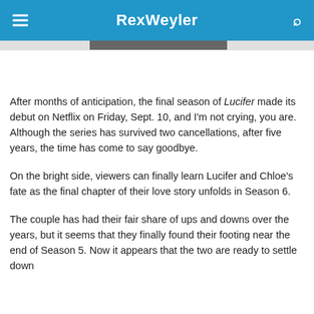RexWeyler
[Figure (photo): Partial image strip visible at top of content area]
After months of anticipation, the final season of Lucifer made its debut on Netflix on Friday, Sept. 10, and I'm not crying, you are. Although the series has survived two cancellations, after five years, the time has come to say goodbye.
On the bright side, viewers can finally learn Lucifer and Chloe's fate as the final chapter of their love story unfolds in Season 6.
The couple has had their fair share of ups and downs over the years, but it seems that they finally found their footing near the end of Season 5. Now it appears that the two are ready to settle down…